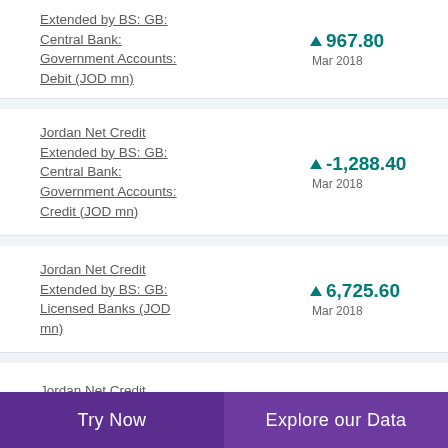Jordan Net Credit Extended by BS: GB: Central Bank: Government Accounts: Debit (JOD mn) ▲ 967.80 Mar 2018
Jordan Net Credit Extended by BS: GB: Central Bank: Government Accounts: Credit (JOD mn) ▲ -1,288.40 Mar 2018
Jordan Net Credit Extended by BS: GB: Licensed Banks (JOD mn) ▲ 6,725.60 Mar 2018
Jordan Net Credit (partial)
Try Now | Explore our Data